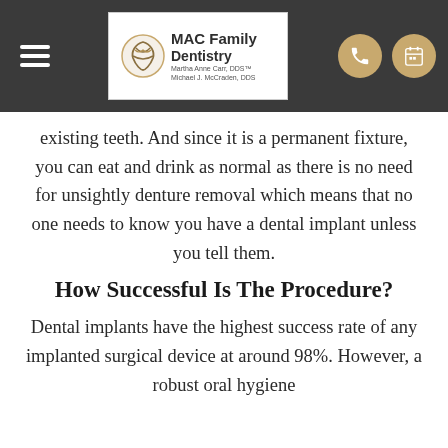[Figure (logo): MAC Family Dentistry logo with navigation header on dark grey background]
existing teeth. And since it is a permanent fixture, you can eat and drink as normal as there is no need for unsightly denture removal which means that no one needs to know you have a dental implant unless you tell them.
How Successful Is The Procedure?
Dental implants have the highest success rate of any implanted surgical device at around 98%. However, a robust oral hygiene